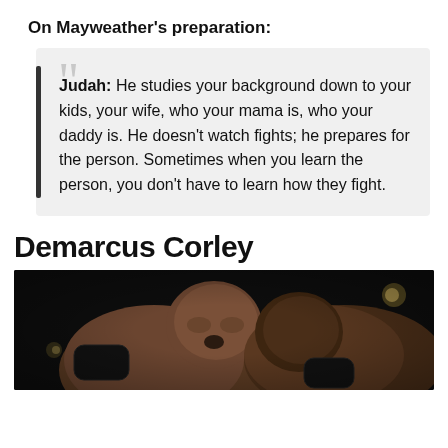On Mayweather's preparation:
Judah: He studies your background down to your kids, your wife, who your mama is, who your daddy is. He doesn't watch fights; he prepares for the person. Sometimes when you learn the person, you don't have to learn how they fight.
Demarcus Corley
[Figure (photo): Two boxers in close contact during a boxing match, one appearing to take a punch, photographed in low-light arena conditions.]